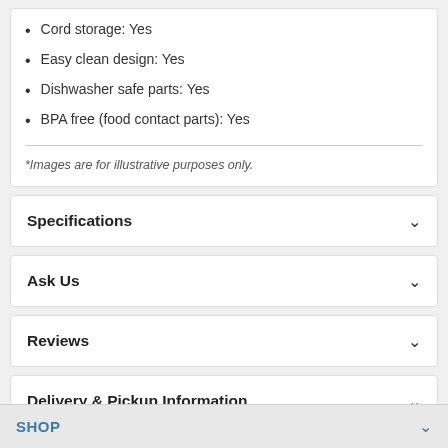Cord storage: Yes
Easy clean design: Yes
Dishwasher safe parts: Yes
BPA free (food contact parts): Yes
*Images are for illustrative purposes only.
Specifications
Ask Us
Reviews
Delivery & Pickup Information
SHOP